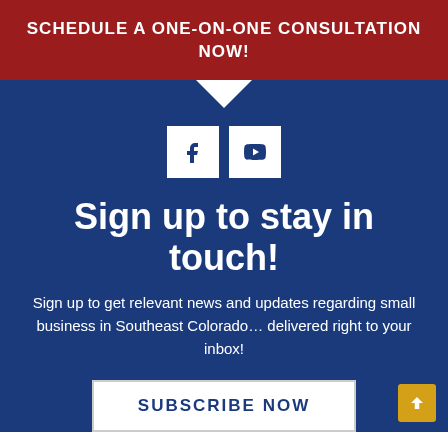SCHEDULE A ONE-ON-ONE CONSULTATION NOW!
[Figure (illustration): Social media icons: Facebook (f) and YouTube (play button) white square icons on dark blue background]
Sign up to stay in touch!
Sign up to get relevant news and updates regarding small business in Southeast Colorado… delivered right to your inbox!
SUBSCRIBE NOW